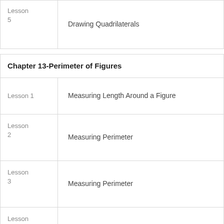| Lesson | Topic |
| --- | --- |
| Lesson 5 | Drawing Quadrilaterals |
| Chapter 13-Perimeter of Figures |  |
| Lesson 1 | Measuring Length Around a Figure |
| Lesson 2 | Measuring Perimeter |
| Lesson 3 | Measuring Perimeter |
| Lesson 4 | Solving Problems |
| Lesson 5 | Solving Problems |
| Lesson |  |